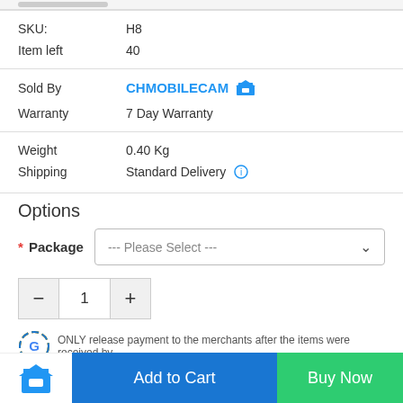| Field | Value |
| --- | --- |
| SKU: | H8 |
| Item left | 40 |
| Sold By | CHMOBILECAM |
| Warranty | 7 Day Warranty |
| Weight | 0.40 Kg |
| Shipping | Standard Delivery |
Options
* Package --- Please Select ---
- 1 +
ONLY release payment to the merchants after the items were received by
Add to Cart  Buy Now